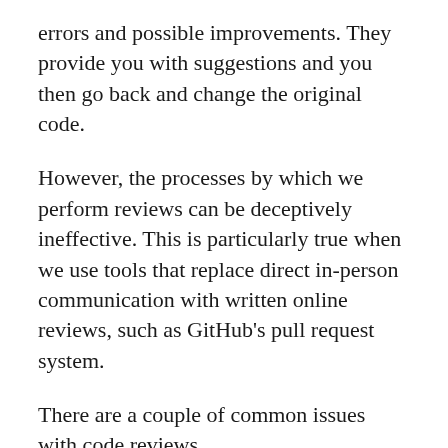errors and possible improvements. They provide you with suggestions and you then go back and change the original code.
However, the processes by which we perform reviews can be deceptively ineffective. This is particularly true when we use tools that replace direct in-person communication with written online reviews, such as GitHub's pull request system.
There are a couple of common issues with code reviews.
The first is that code reviews vary in effectiveness. The reviewer can be careful, careless, or somewhere in-between. Even the